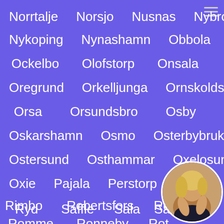Norrtalje
Norsjo
Nusnas
Nybro
Nykoping
Nynashamn
Obbola
Ockelbo
Olofstorp
Onsala
Oregrund
Orkelljunga
Ornskoldsvik
Orsa
Orsundsbro
Osby
Oskarshamn
Osmo
Osterbybruk
Ostersund
Osthammar
Oxelosund
Oxie
Pajala
Perstorp
Pitea
Rimbo
Robertsfors
Rodeby
Romme
Ronneby
Rot
Ryd
Saffle
Sala
Salen
[Figure (photo): Circular avatar photo of a blonde woman in the bottom-right corner]